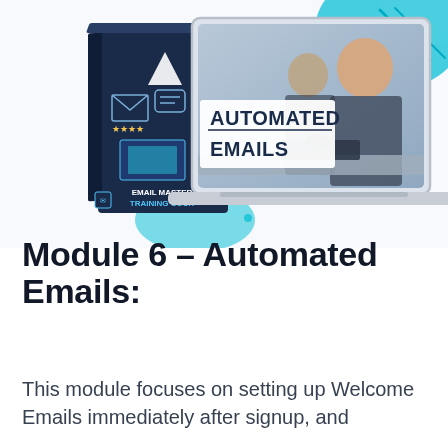[Figure (illustration): Email Mastery Training Course box product mockup alongside a laptop screen showing 'AUTOMATED EMAILS' text, with decorative teal blobs and dots, and two people working in background of laptop screen.]
Module 6 – Automated Emails:
This module focuses on setting up Welcome Emails immediately after signup, and